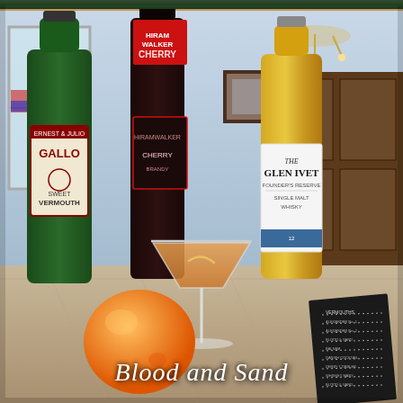[Figure (photo): A cocktail scene on a kitchen counter showing a martini glass filled with an amber/orange drink, a whole orange, a green bottle of Gallo Sweet Vermouth, a dark bottle of Hiram Walker Cherry liqueur, and a bottle of The Glenlivet Founder's Reserve Single Malt Whisky. A black cocktail recipe booklet is visible on the right. The background shows a home kitchen with cabinets and a chandelier.]
Blood and Sand